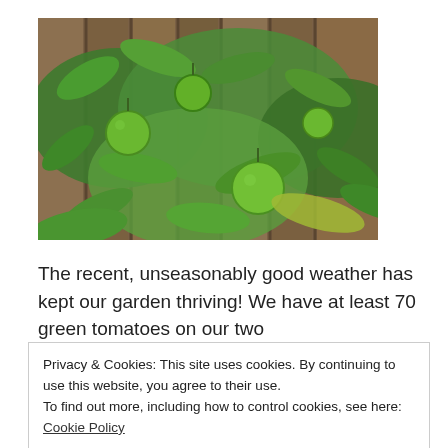[Figure (photo): A tomato plant with green unripe tomatoes growing in front of a wooden fence background. The plant has lush green leaves and multiple green tomatoes at various stages of growth.]
The recent, unseasonably good weather has kept our garden thriving! We have at least 70 green tomatoes on our two
Privacy & Cookies: This site uses cookies. By continuing to use this website, you agree to their use.
To find out more, including how to control cookies, see here: Cookie Policy
[Close and accept]